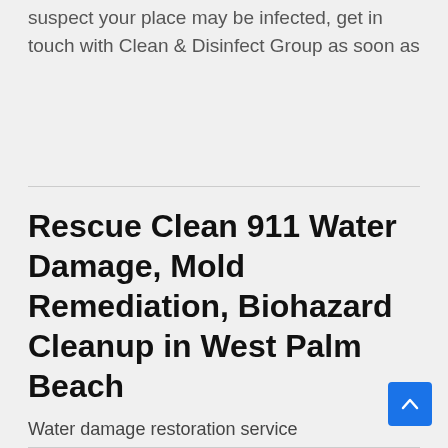suspect your place may be infected, get in touch with Clean & Disinfect Group as soon as
Rescue Clean 911 Water Damage, Mold Remediation, Biohazard Cleanup in West Palm Beach
Water damage restoration service
West Palm Beach, FL
BIOHAZARD , MOLD , FIRE, WATER DAMAGE, SPECIALTY CLEANING SERVICES